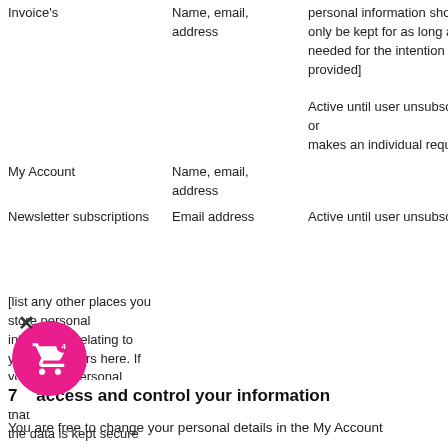| Location | Data collected | Retention period |
| --- | --- | --- |
| Invoice's | Name, email, address | personal information should only be kept for as long as is needed for the intention it was provided] |
| My Account | Name, email, address | Active until user unsubscribes or makes an individual request |
| Newsletter subscriptions | Email address | Active until user unsubscribes |
[list any other places you store personal information relating to your customers here. If you export personal data you should ensure that the data is kept secure and in accordance with this policy.]
7. access and control your information
You are free to change your personal details in the My Account